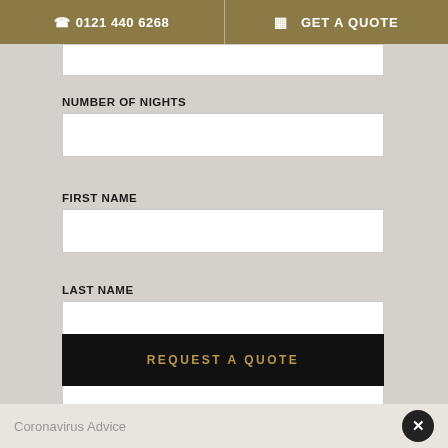0121 440 6268 | GET A QUOTE
NUMBER OF NIGHTS
FIRST NAME
LAST NAME
YOUR EMAIL ADDRESS
REQUEST A QUOTE
Coronavirus Advice